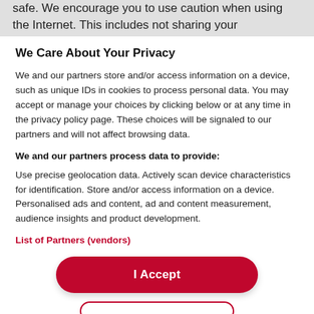safe. We encourage you to use caution when using the Internet. This includes not sharing your
We Care About Your Privacy
We and our partners store and/or access information on a device, such as unique IDs in cookies to process personal data. You may accept or manage your choices by clicking below or at any time in the privacy policy page. These choices will be signaled to our partners and will not affect browsing data.
We and our partners process data to provide:
Use precise geolocation data. Actively scan device characteristics for identification. Store and/or access information on a device. Personalised ads and content, ad and content measurement, audience insights and product development.
List of Partners (vendors)
I Accept